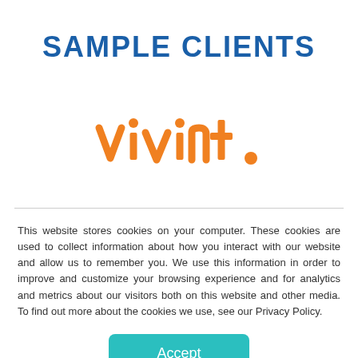SAMPLE CLIENTS
[Figure (logo): Vivint logo in orange text with a dot at the end]
This website stores cookies on your computer. These cookies are used to collect information about how you interact with our website and allow us to remember you. We use this information in order to improve and customize your browsing experience and for analytics and metrics about our visitors both on this website and other media. To find out more about the cookies we use, see our Privacy Policy.
Accept